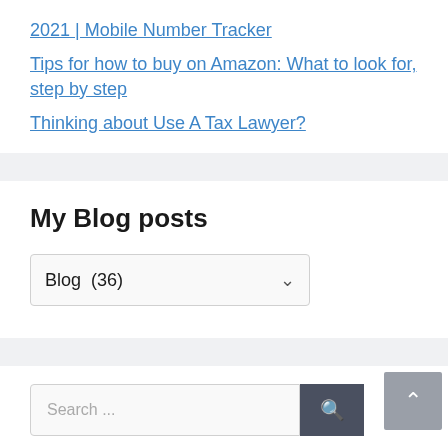2021 | Mobile Number Tracker
Tips for how to buy on Amazon: What to look for, step by step
Thinking about Use A Tax Lawyer?
My Blog posts
Blog  (36)
Search ...